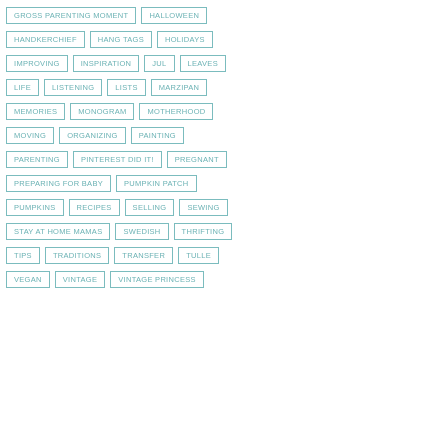GROSS PARENTING MOMENT
HALLOWEEN
HANDKERCHIEF
HANG TAGS
HOLIDAYS
IMPROVING
INSPIRATION
JUL
LEAVES
LIFE
LISTENING
LISTS
MARZIPAN
MEMORIES
MONOGRAM
MOTHERHOOD
MOVING
ORGANIZING
PAINTING
PARENTING
PINTEREST DID IT!
PREGNANT
PREPARING FOR BABY
PUMPKIN PATCH
PUMPKINS
RECIPES
SELLING
SEWING
STAY AT HOME MAMAS
SWEDISH
THRIFTING
TIPS
TRADITIONS
TRANSFER
TULLE
VEGAN
VINTAGE
VINTAGE PRINCESS